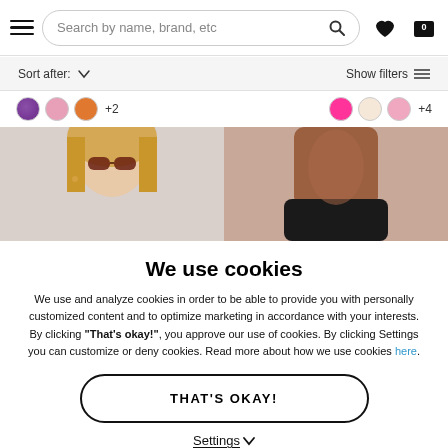Search by name, brand, etc
Sort after: Show filters
[Figure (screenshot): Color swatches: purple, pink, orange +2 on left; hot pink, cream, light pink +4 on right]
[Figure (photo): Two product photos: left shows a woman with sunglasses and blonde hair; right shows a person's torso in a dark bikini bottom]
We use cookies
We use and analyze cookies in order to be able to provide you with personally customized content and to optimize marketing in accordance with your interests. By clicking "That's okay!", you approve our use of cookies. By clicking Settings you can customize or deny cookies. Read more about how we use cookies here.
THAT'S OKAY!
Settings